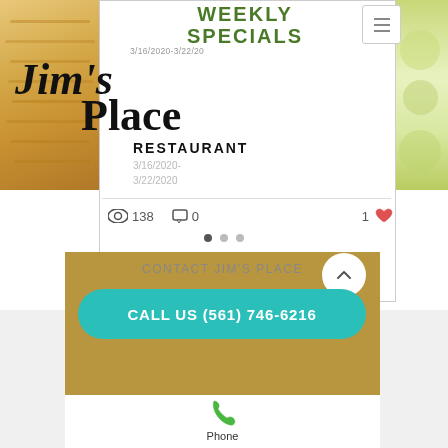[Figure (screenshot): Jim's Place Restaurant website screenshot showing a blog post card for Weekly Specials 3/16/2020-3/22/2020 with food photos, logo, engagement stats (138 views, 0 comments, 1 like), carousel dots, a gold contact section with teal call button showing (561) 746-6216, and a phone icon section.]